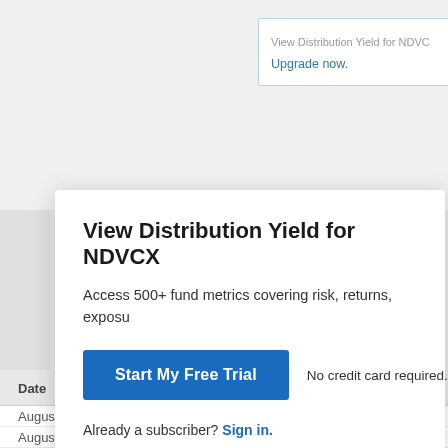[Figure (screenshot): Background showing a financial data table with columns Date, Value, Date partially visible behind a modal dialog. A tooltip box in upper right shows 'View Distribution Yield for NDVCX' and 'Upgrade now.' in blue.]
View Distribution Yield for NDVCX
Access 500+ fund metrics covering risk, returns, exposu
Start My Free Trial
No credit card required.
Already a subscriber? Sign in.
| Date | Value | Date |
| --- | --- | --- |
| August 23, 2022 | -- | July 19, 2022 |
| August 22, 2022 | -- | July 18, 2022 |